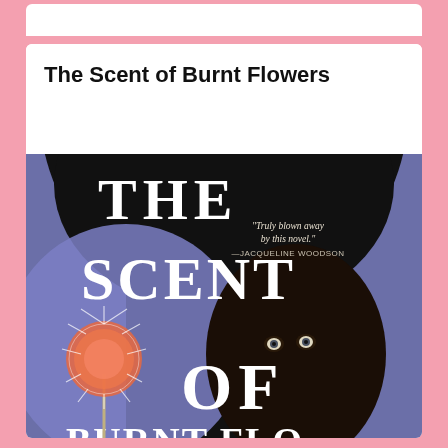The Scent of Burnt Flowers
[Figure (illustration): Book cover of 'The Scent of Burnt Flowers' showing a dark-skinned person's face against a black silhouette on a purple/lavender background, with large white text reading 'THE SCENT OF' and a pink fluffy flower/dandelion at bottom left. A pull quote reads: 'Truly blown away by this novel.' —JACQUELINE WOODSON]